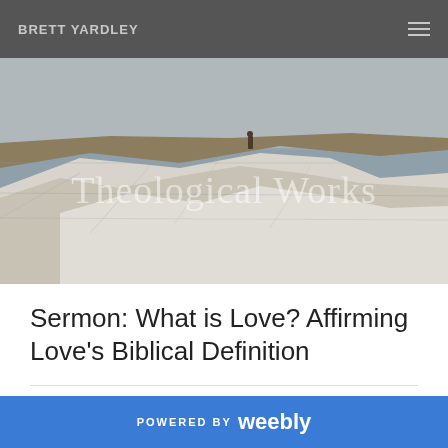BRETT YARDLEY
[Figure (photo): A person standing on the edge of a white chalk cliff overlooking a grey sea. Overlaid with the text 'Theological Works' in semi-transparent white.]
Sermon: What is Love? Affirming Love's Biblical Definition
10/2/2012
2 Comments
POWERED BY weebly